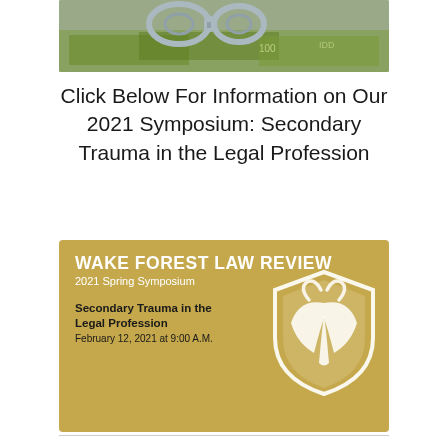[Figure (photo): Photo of handcuffs on top of US dollar bills]
Click Below For Information on Our 2021 Symposium: Secondary Trauma in the Legal Profession
[Figure (illustration): Wake Forest Law Review 2021 Spring Symposium banner. Gold/tan background with white Wake Forest shield logo. Text: WAKE FOREST LAW REVIEW, 2021 Spring Symposium, Secondary Trauma in the Legal Profession, February 12, 2021 at 9:00 A.M.]